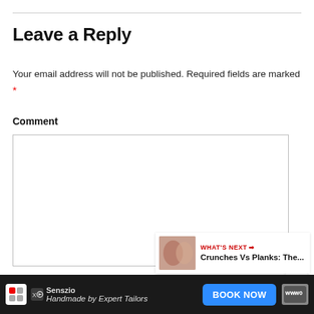Leave a Reply
Your email address will not be published. Required fields are marked *
Comment
[Figure (screenshot): Comment textarea input box, empty, with border]
[Figure (illustration): Red circular heart favorite button]
[Figure (illustration): White circular share button with share icon]
[Figure (infographic): What's Next widget showing Crunches Vs Planks article preview with thumbnail]
Name *
[Figure (infographic): Ad bar: Senszio - Handmade by Expert Tailors - BOOK NOW button]